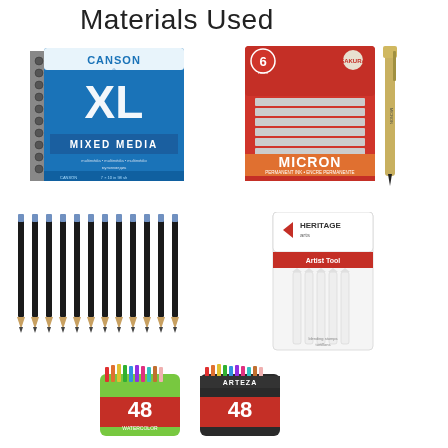Materials Used
[Figure (illustration): Canson XL Mixed Media spiral-bound sketchpad, blue cover, 7x10 in, 98 sheets]
[Figure (illustration): Sakura Pigma Micron 6-pack black ink pens set (orange packaging) plus single Micron pen]
[Figure (illustration): Set of graphite/charcoal pencils with black bodies and blue eraser tips, approximately 12 pencils fanned out]
[Figure (illustration): Heritage Arts blending stumps/tortillons set in clear packaging with red label, white paper stumps]
[Figure (illustration): Two cylindrical tins of Arteza 48-count watercolor pencils, green and black tins labeled 48]